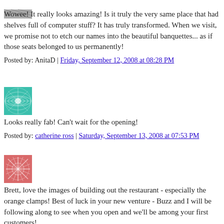[Figure (illustration): Small avatar image with wavy pattern, teal/gray tones]
Wowee! It really looks amazing! Is it truly the very same place that had shelves full of computer stuff? It has truly transformed. When we visit, we promise not to etch our names into the beautiful banquettes... as if those seats belonged to us permanently!
Posted by: AnitaD | Friday, September 12, 2008 at 08:28 PM
[Figure (illustration): Small avatar image with geometric net/globe pattern, teal/green tones]
Looks really fab! Can't wait for the opening!
Posted by: catherine ross | Saturday, September 13, 2008 at 07:53 PM
[Figure (illustration): Small avatar image with star/web pattern, salmon/pink tones]
Brett, love the images of building out the restaurant - especially the orange clamps! Best of luck in your new venture - Buzz and I will be following along to see when you open and we'll be among your first customers!